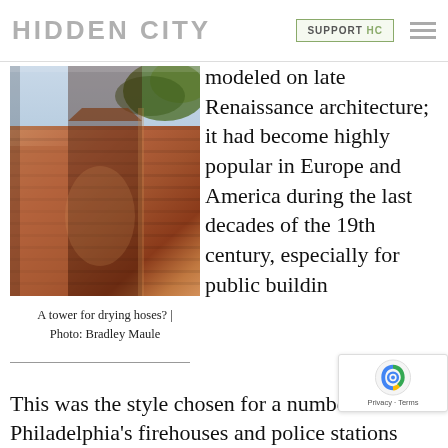HIDDEN CITY | SUPPORT HC
[Figure (photo): Close-up upward view of a red brick tower or chimney of a historic building, with tree foliage visible at top right. Photo by Bradley Maule.]
A tower for drying hoses? | Photo: Bradley Maule
modeled on late Renaissance architecture; it had become highly popular in Europe and America during the last decades of the 19th century, especially for public buildin
This was the style chosen for a number of Philadelphia's firehouses and police stations